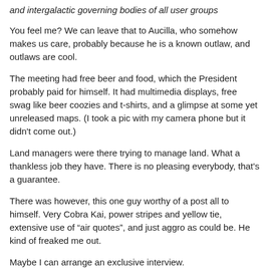and intergalactic governing bodies of all user groups
You feel me? We can leave that to Aucilla, who somehow makes us care, probably because he is a known outlaw, and outlaws are cool.
The meeting had free beer and food, which the President probably paid for himself. It had multimedia displays, free swag like beer coozies and t-shirts, and a glimpse at some yet unreleased maps. (I took a pic with my camera phone but it didn't come out.)
Land managers were there trying to manage land. What a thankless job they have. There is no pleasing everybody, that's a guarantee.
There was however, this one guy worthy of a post all to himself. Very Cobra Kai, power stripes and yellow tie, extensive use of “air quotes”, and just aggro as could be. He kind of freaked me out.
Maybe I can arrange an exclusive interview.